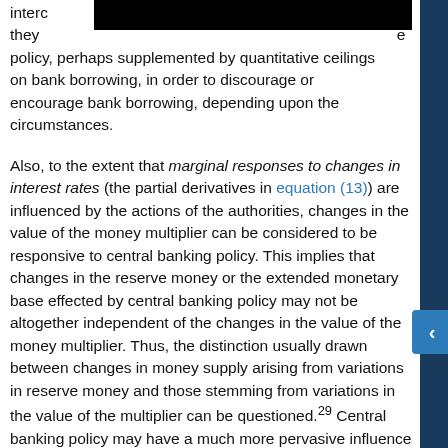intere experience. they e policy, perhaps supplemented by quantitative ceilings on bank borrowing, in order to discourage or encourage bank borrowing, depending upon the circumstances.
Also, to the extent that marginal responses to changes in interest rates (the partial derivatives in equation (13)) are influenced by the actions of the authorities, changes in the value of the money multiplier can be considered to be responsive to central banking policy. This implies that changes in the reserve money or the extended monetary base effected by central banking policy may not be altogether independent of the changes in the value of the money multiplier. Thus, the distinction usually drawn between changes in money supply arising from variations in reserve money and those stemming from variations in the value of the multiplier can be questioned.29 Central banking policy may have a much more pervasive influence on money supply than is usually supposed.